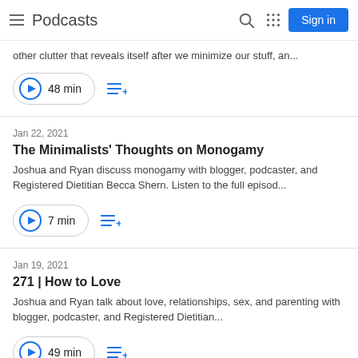Podcasts
other clutter that reveals itself after we minimize our stuff, an...
48 min
Jan 22, 2021
The Minimalists' Thoughts on Monogamy
Joshua and Ryan discuss monogamy with blogger, podcaster, and Registered Dietitian Becca Shern. Listen to the full episod...
7 min
Jan 19, 2021
271 | How to Love
Joshua and Ryan talk about love, relationships, sex, and parenting with blogger, podcaster, and Registered Dietitian...
49 min